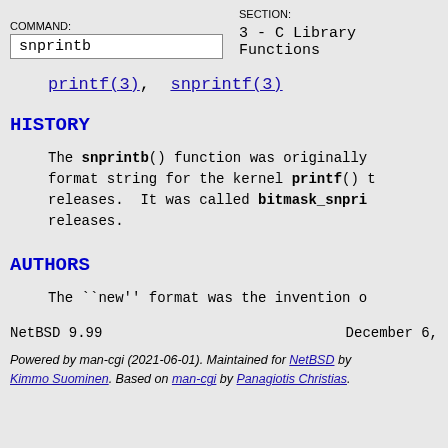COMMAND: snprintb   SECTION: 3 - C Library Functions
printf(3), snprintf(3)
HISTORY
The snprintb() function was originally format string for the kernel printf() releases.  It was called bitmask_snpri releases.
AUTHORS
The ``new'' format was the invention o
NetBSD 9.99                                        December 6,
Powered by man-cgi (2021-06-01). Maintained for NetBSD by Kimmo Suominen. Based on man-cgi by Panagiotis Christias.